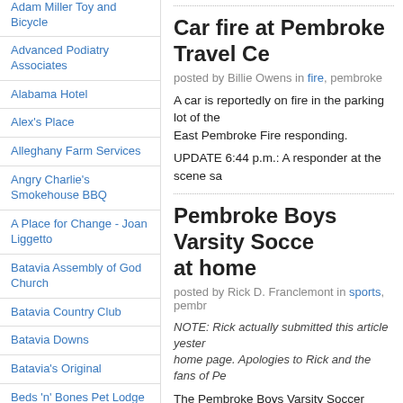Adam Miller Toy and Bicycle
Advanced Podiatry Associates
Alabama Hotel
Alex's Place
Alleghany Farm Services
Angry Charlie's Smokehouse BBQ
A Place for Change - Joan Liggetto
Batavia Assembly of God Church
Batavia Country Club
Batavia Downs
Batavia's Original
Beds 'n' Bones Pet Lodge
Bill Fox and Son Construction & Remodeling
Blondies Sip -N- Dip
Bontrager's Real Estate
Bourbon & Burger Co.
Car fire at Pembroke Travel Ce
posted by Billie Owens in fire, pembroke
A car is reportedly on fire in the parking lot of the East Pembroke Fire responding.
UPDATE 6:44 p.m.: A responder at the scene sa
Pembroke Boys Varsity Soccer at home
posted by Rick D. Franclemont in sports, pembroke
NOTE: Rick actually submitted this article yesterday home page. Apologies to Rick and the fans of Pe
The Pembroke Boys Varsity Soccer team started league game against Kendall. After a slow first ha Dragons came out strong in the second half, sco
Sophomore Collin Lewis got the goal on an assi boys were very upbeat after the game, having pl opponent. The final score was 3-1. Next Dragon